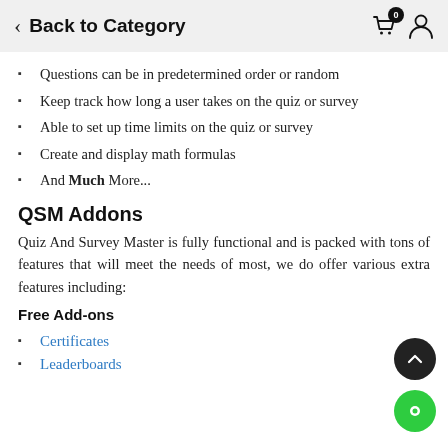Back to Category
Questions can be in predetermined order or random
Keep track how long a user takes on the quiz or survey
Able to set up time limits on the quiz or survey
Create and display math formulas
And Much More...
QSM Addons
Quiz And Survey Master is fully functional and is packed with tons of features that will meet the needs of most, we do offer various extra features including:
Free Add-ons
Certificates
Leaderboards